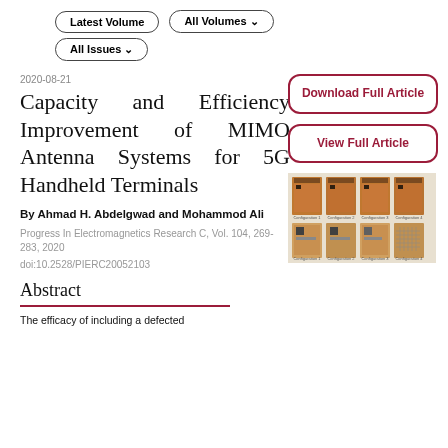Latest Volume | All Volumes | All Issues
2020-08-21
Capacity and Efficiency Improvement of MIMO Antenna Systems for 5G Handheld Terminals
By Ahmad H. Abdelgwad and Mohammod Ali
Progress In Electromagnetics Research C, Vol. 104, 269-283, 2020
doi:10.2528/PIERC20052103
[Figure (photo): Photo of MIMO antenna configurations showing four antenna prototypes on copper boards in two rows]
Abstract
The efficacy of including a defected